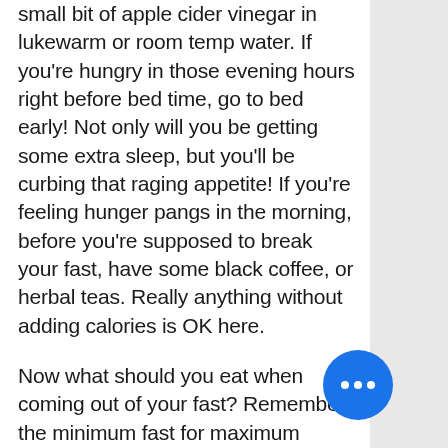small bit of apple cider vinegar in lukewarm or room temp water.  If you're hungry in those evening hours right before bed time, go to bed early!  Not only will you be getting some extra sleep, but you'll be curbing that raging appetite!  If you're feeling hunger pangs in the morning, before you're supposed to break your fast, have some black coffee, or herbal teas. Really anything without adding calories is OK here.
Now what should you eat when coming out of your fast?  Remember, the minimum fast for maximum results is twelve hours.  If you've been in a fasted state for twelve or more hours, we need to come out of it with easy to digest nutrient dense foods. Here are my favorites: